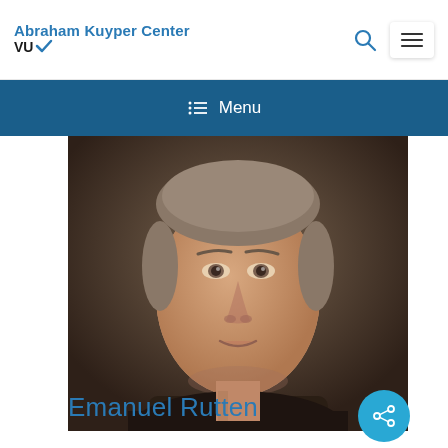Abraham Kuyper Center VU
[Figure (photo): Portrait photograph of Emanuel Rutten, a man with light brown hair pulled back, looking directly at the camera with a neutral expression, wearing a dark shirt, against a dark brown background.]
Emanuel Rutten